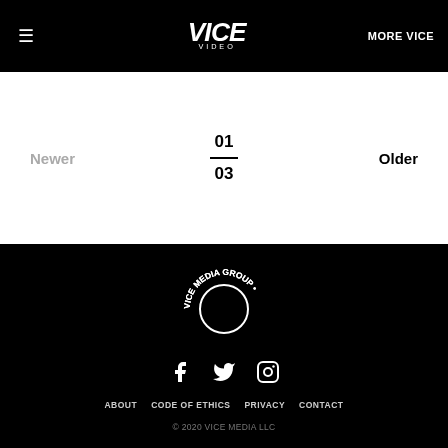☰  VICE VIDEO  MORE VICE
Newer
01 / 03
Older
[Figure (logo): VICE MEDIA GROUP circular logo in white on black background]
[Figure (other): Social media icons: Facebook, Twitter, Instagram]
ABOUT  CODE OF ETHICS  PRIVACY  CONTACT
© 2020 VICE MEDIA LLC